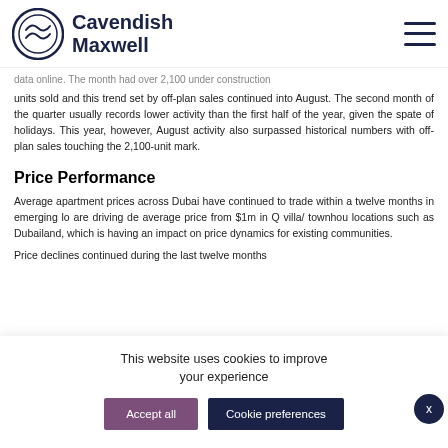Cavendish Maxwell
data online. The month had over 2,100 under construction units sold and this trend set by off-plan sales continued into August. The second month of the quarter usually records lower activity than the first half of the year, given the spate of holidays. This year, however, August activity also surpassed historical numbers with off-plan sales touching the 2,100-unit mark.
Price Performance
Average apartment prices across Dubai have continued to trade within a tight range over the last twelve months. Demand is particularly strong in emerging locations, where competitive prices are driving demand. We have seen average prices for apartments rise from $1m in Q... villa/ townhouses in emerging locations such as Dubailand, which is having an impact on price dynamics for existing communities.
Price declines continued during the last twelve months